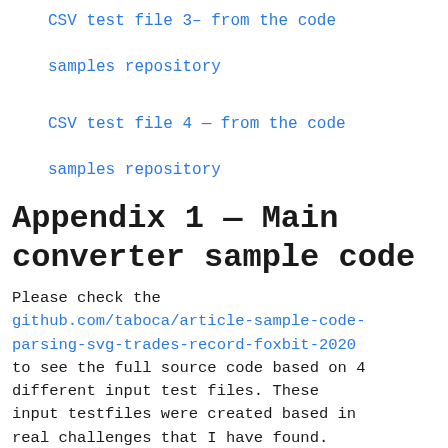CSV test file 3– from the code samples repository
CSV test file 4 — from the code samples repository
Appendix 1 — Main converter sample code
Please check the github.com/taboca/article-sample-code-parsing-svg-trades-record-foxbit-2020 to see the full source code based on 4 different input test files. These input testfiles were created based in real challenges that I have found.